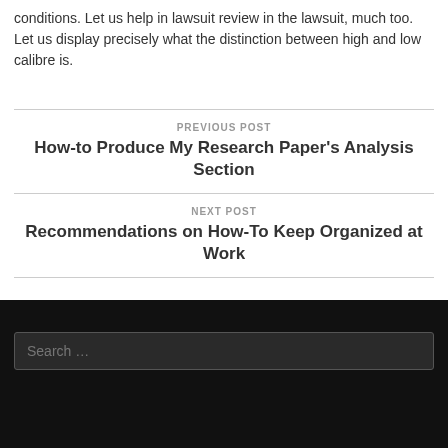conditions. Let us help in lawsuit review in the lawsuit, much too. Let us display precisely what the distinction between high and low calibre is.
PREVIOUS POST
How-to Produce My Research Paper's Analysis Section
NEXT POST
Recommendations on How-To Keep Organized at Work
Search …